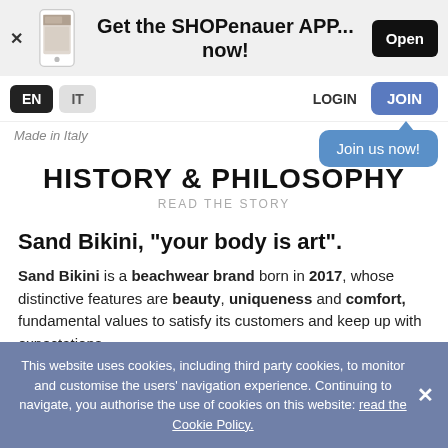Get the SHOPenauer APP... now!
EN  IT  LOGIN  JOIN
Made in Italy
HISTORY & PHILOSOPHY
READ THE STORY
Sand Bikini, "your body is art".
Sand Bikini is a beachwear brand born in 2017, whose distinctive features are beauty, uniqueness and comfort, fundamental values to satisfy its customers and keep up with expectations.
This website uses cookies, including third party cookies, to monitor and customise the users' navigation experience. Continuing to navigate, you authorise the use of cookies on this website: read the Cookie Policy.